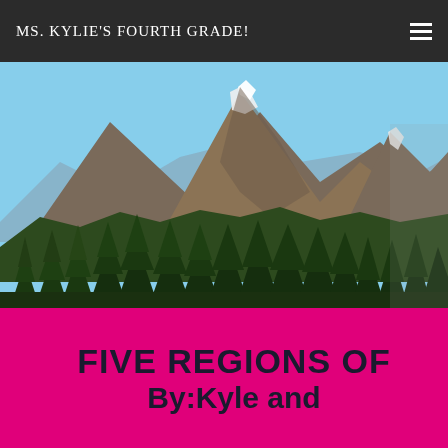MS. KYLIE'S FOURTH GRADE!
[Figure (photo): Landscape photograph of mountain peaks with snow patches, a blue sky, and a foreground of dense evergreen coniferous trees (pine/fir). Mountain range visible in the background with shadows and rocky terrain.]
FIVE REGIONS OF
By:Kyle and